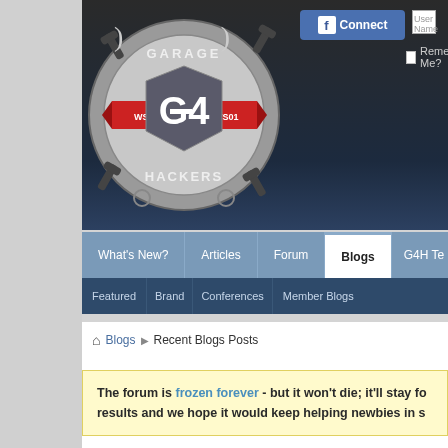[Figure (logo): Garage 4 Hackers logo with wrench icons, shield emblem, G4H text on red banner, WSO1 text]
Connect | User Name | Password | Remember Me?
What's New? | Articles | Forum | Blogs | G4H Te...
Featured and Conferences | Brand | Member Blogs
Blogs > Recent Blogs Posts
The forum is frozen forever - but it won't die; it'll stay fo... results and we hope it would keep helping newbies in s...
Recent Blogs Posts